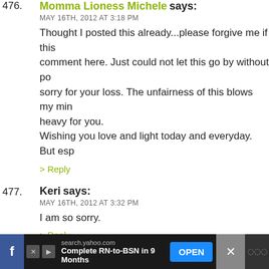476. Momma Lioness Michele says: MAY 16TH, 2012 AT 3:18 PM — Thought I posted this already...please forgive me if this comment here. Just could not let this go by without po... sorry for your loss. The unfairness of this blows my min... heavy for you. Wishing you love and light today and everyday. But esp... > Reply
477. Keri says: MAY 16TH, 2012 AT 3:32 PM — I am so sorry. > Reply
478. Wallydraigle says: MAY 16TH, 2012 AT 3:39 PM — Oh, I am so sorry. What an awful thing for you. For anyb... especially for you. I'm so sorry.
Ad: search.yahoo.com — Complete RN-to-BSN in 9 Months — OPEN